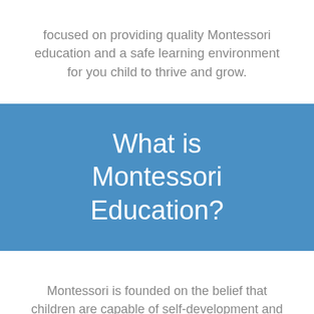focused on providing quality Montessori education and a safe learning environment for you child to thrive and grow.
What is Montessori Education?
Montessori is founded on the belief that children are capable of self-development and